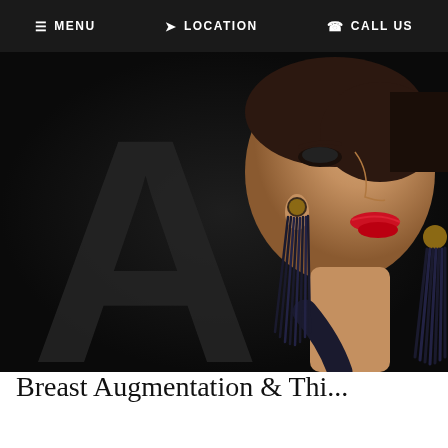MENU   LOCATION   CALL US
[Figure (photo): Fashion/beauty photo of a young woman in profile with red lips, dramatic makeup, and dark tassel earrings, against a dark background with a large letter A watermark]
Breast Augmentation & Thi...